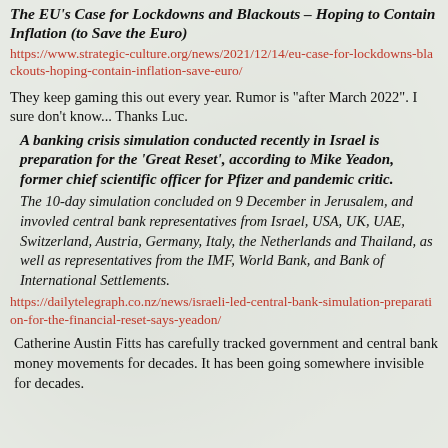The EU's Case for Lockdowns and Blackouts – Hoping to Contain Inflation (to Save the Euro)
https://www.strategic-culture.org/news/2021/12/14/eu-case-for-lockdowns-blackouts-hoping-contain-inflation-save-euro/
They keep gaming this out every year. Rumor is "after March 2022". I sure don't know... Thanks Luc.
A banking crisis simulation conducted recently in Israel is preparation for the 'Great Reset', according to Mike Yeadon, former chief scientific officer for Pfizer and pandemic critic.
The 10-day simulation concluded on 9 December in Jerusalem, and invovled central bank representatives from Israel, USA, UK, UAE, Switzerland, Austria, Germany, Italy, the Netherlands and Thailand, as well as representatives from the IMF, World Bank, and Bank of International Settlements.
https://dailytelegraph.co.nz/news/israeli-led-central-bank-simulation-preparation-for-the-financial-reset-says-yeadon/
Catherine Austin Fitts has carefully tracked government and central bank money movements for decades. It has been going somewhere invisible for decades.